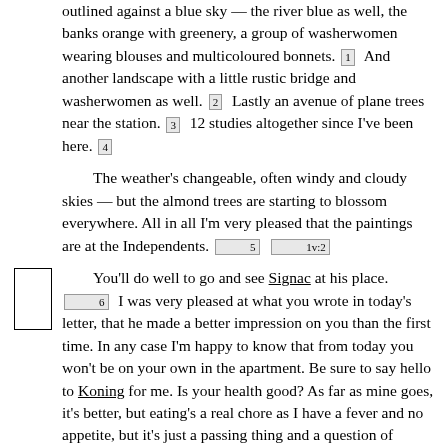outlined against a blue sky — the river blue as well, the banks orange with greenery, a group of washerwomen wearing blouses and multicoloured bonnets. [1] And another landscape with a little rustic bridge and washerwomen as well. [2] Lastly an avenue of plane trees near the station. [3] 12 studies altogether since I've been here. [4]

The weather's changeable, often windy and cloudy skies — but the almond trees are starting to blossom everywhere. All in all I'm very pleased that the paintings are at the Independents. [5] [1v:2]

You'll do well to go and see Signac at his place. [6] I was very pleased at what you wrote in today's letter, that he made a better impression on you than the first time. In any case I'm happy to know that from today you won't be on your own in the apartment. Be sure to say hello to Koning for me. Is your health good? As far as mine goes, it's better, but eating's a real chore as I have a fever and no appetite, but it's just a passing thing and a question of patience.

I have company in the evening, because the young Danish painter who's here is very nice; his work is dry, correct and timid, but I'm not averse to that when the person is young and intelligent. At one time he'd begun to study medicine, he knows the works of Zola, De Goncourt and Guy de Maupassant, and he has enough money to have an easy time of it. [7] Besides that he has a very serious wish to do something different from what he's doing at present. I think he'd do well to put off returning home for a year, or to come back